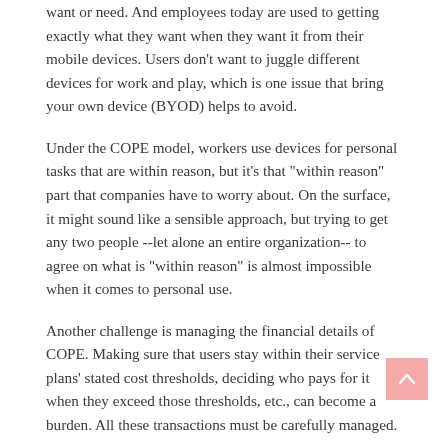want or need. And employees today are used to getting exactly what they want when they want it from their mobile devices. Users don't want to juggle different devices for work and play, which is one issue that bring your own device (BYOD) helps to avoid.
Under the COPE model, workers use devices for personal tasks that are within reason, but it's that "within reason" part that companies have to worry about. On the surface, it might sound like a sensible approach, but trying to get any two people --let alone an entire organization-- to agree on what is "within reason" is almost impossible when it comes to personal use.
Another challenge is managing the financial details of COPE. Making sure that users stay within their service plans' stated cost thresholds, deciding who pays for it when they exceed those thresholds, etc., can become a burden. All these transactions must be carefully managed.
How to make COPE work